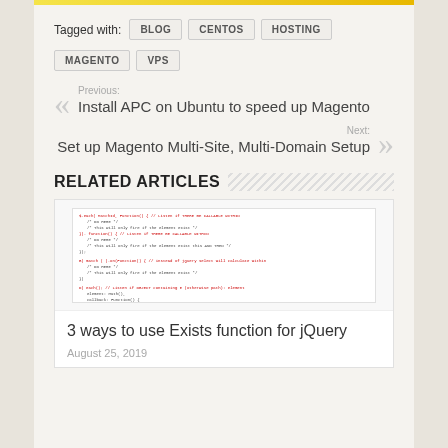Tagged with: BLOG  CENTOS  HOSTING  MAGENTO  VPS
Previous: Install APC on Ubuntu to speed up Magento
Next: Set up Magento Multi-Site, Multi-Domain Setup
RELATED ARTICLES
[Figure (screenshot): Screenshot of code showing jQuery exists function examples]
3 ways to use Exists function for jQuery
August 25, 2019